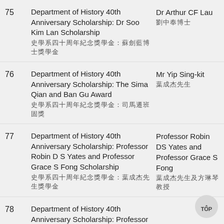75 | Department of History 40th Anniversary Scholarship: Dr Soo Kim Lan Scholarship | Dr Arthur CF Lau
76 | Department of History 40th Anniversary Scholarship: The Sima Qian and Ban Gu Award | Mr Yip Sing-kit
77 | Department of History 40th Anniversary Scholarship: Professor Robin D S Yates and Professor Grace S Fong Scholarship | Professor Robin DS Yates and Professor Grace S Fong
78 | Department of History 40th Anniversary Scholarship: Professor Hsiao Tso Liang Memorial Scholarship (for students returned from exchanges in Europe) | Mr Tyrone Tai-lun SIU